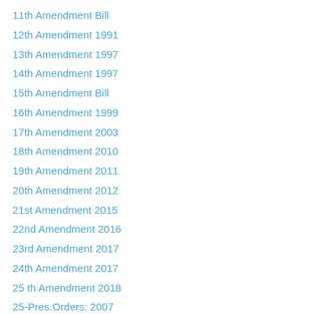11th Amendment Bill
12th Amendment 1991
13th Amendment 1997
14th Amendment 1997
15th Amendment Bill
16th Amendment 1999
17th Amendment 2003
18th Amendment 2010
19th Amendment 2011
20th Amendment 2012
21st Amendment 2015
22nd Amendment 2016
23rd Amendment 2017
24th Amendment 2017
25 th Amendment 2018
25-Pres.Orders: 2007
26-Pres. Orders: 77 to 06
27-Comparative Table
28-Quaid’s address
29-Objectives Resolution